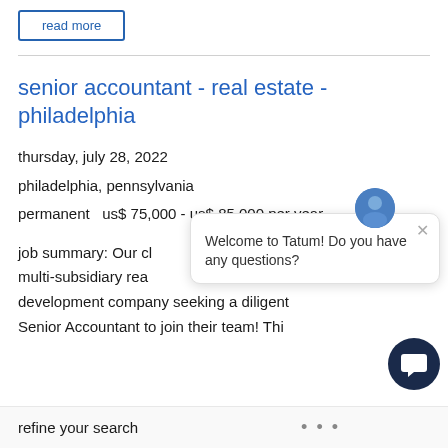read more
senior accountant - real estate - philadelphia
thursday, july 28, 2022
philadelphia, pennsylvania
permanent   us$ 75,000 - us$ 85,000 per year
job summary: Our client is a multi-subsidiary real estate development company seeking a diligent Senior Accountant to join their team! Thi
refine your search